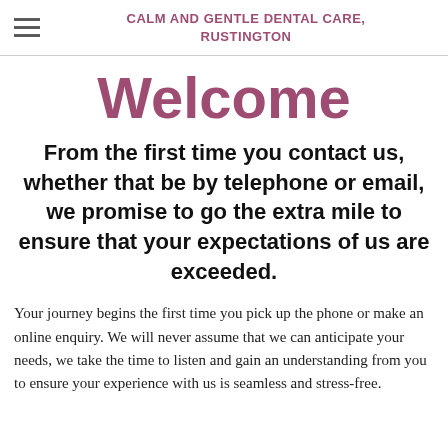CALM AND GENTLE DENTAL CARE, RUSTINGTON
Welcome
From the first time you contact us, whether that be by telephone or email, we promise to go the extra mile to ensure that your expectations of us are exceeded.
Your journey begins the first time you pick up the phone or make an online enquiry. We will never assume that we can anticipate your needs, we take the time to listen and gain an understanding from you to ensure your experience with us is seamless and stress-free.